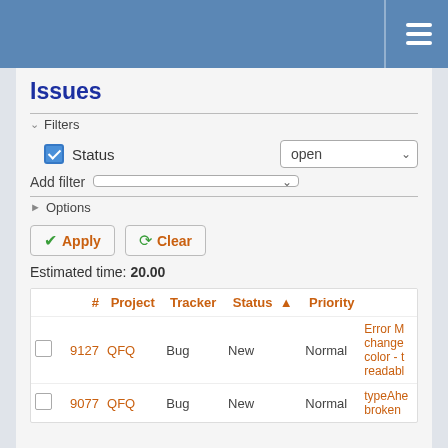Issues — navigation header bar
Issues
Filters
Status: open
Add filter
Options
Apply
Clear
Estimated time: 20.00
|  | # | Project | Tracker | Status | Priority | Subject |
| --- | --- | --- | --- | --- | --- | --- |
|  | 9127 | QFQ | Bug | New | Normal | Error M change color - t readabl |
|  | 9077 | QFQ | Bug | New | Normal | typeAhe broken |